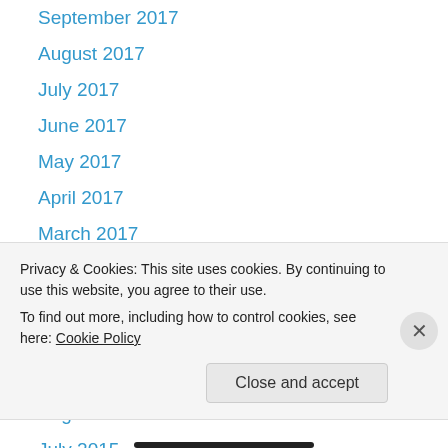September 2017
August 2017
July 2017
June 2017
May 2017
April 2017
March 2017
February 2017
January 2017
October 2015
September 2015
August 2015
July 2015
Privacy & Cookies: This site uses cookies. By continuing to use this website, you agree to their use.
To find out more, including how to control cookies, see here: Cookie Policy
Close and accept